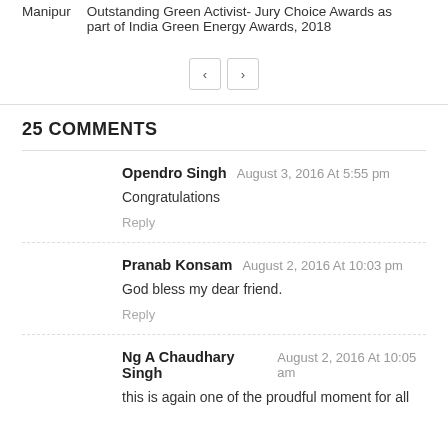Outstanding Green Activist- Jury Choice Awards as part of India Green Energy Awards, 2018
< >
25 COMMENTS
Opendro Singh  August 3, 2016 At 5:55 pm
Congratulations
Reply
Pranab Konsam  August 2, 2016 At 10:03 pm
God bless my dear friend.
Reply
Ng A Chaudhary Singh  August 2, 2016 At 10:05 am
this is again one of the proudful moment for all